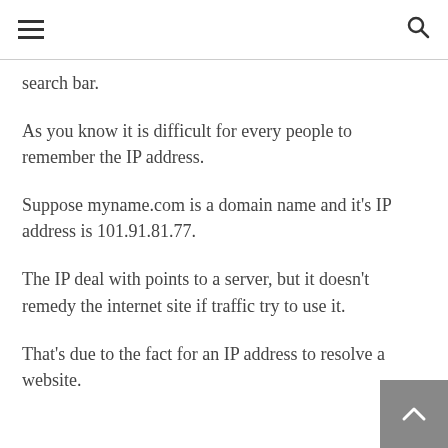≡  🔍
search bar.
As you know it is difficult for every people to remember the IP address.
Suppose myname.com is a domain name and it's IP address is 101.91.81.77.
The IP deal with points to a server, but it doesn't remedy the internet site if traffic try to use it.
That's due to the fact for an IP address to resolve a website.